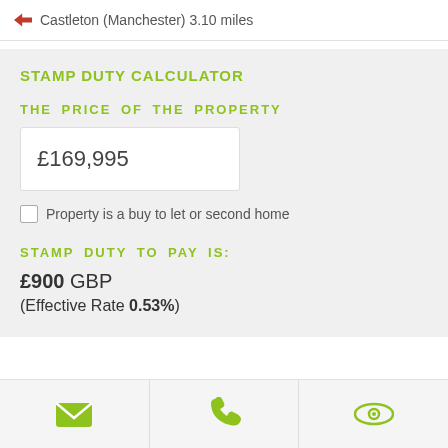Castleton (Manchester) 3.10 miles
STAMP DUTY CALCULATOR
THE PRICE OF THE PROPERTY
£169,995
Property is a buy to let or second home
STAMP DUTY TO PAY IS:
£900 GBP (Effective Rate 0.53%)